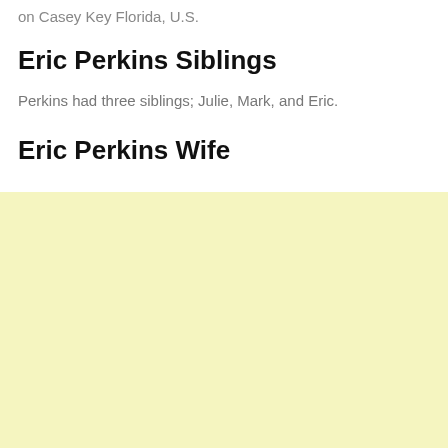on Casey Key Florida, U.S.
Eric Perkins Siblings
Perkins had three siblings; Julie, Mark, and Eric.
Eric Perkins Wife